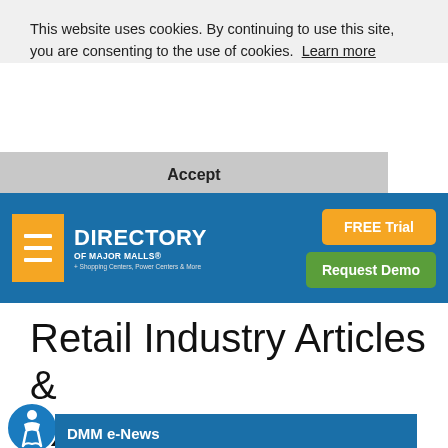This website uses cookies. By continuing to use this site, you are consenting to the use of cookies.  Learn more
Accept
[Figure (logo): Directory of Major Malls logo with hamburger menu button, FREE Trial button (orange), and Request Demo button (green) on a blue navigation bar]
Retail Industry Articles & News
DMM e-News